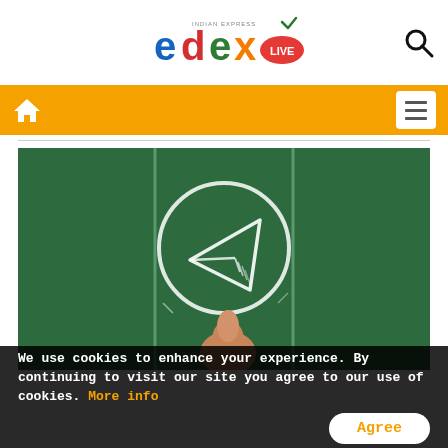[Figure (logo): EdexLive logo - colorful text logo with INDIAN EXPRESS above and LIVE badge]
[Figure (illustration): Chalkboard with Telegram-style paper plane icon drawn in chalk, finger pointing at it, divided into three vertical panels]
We use cookies to enhance your experience. By continuing to visit our site you agree to our use of cookies. More info
Agree